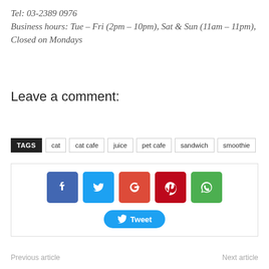Tel: 03-2389 0976
Business hours: Tue – Fri (2pm – 10pm), Sat & Sun (11am – 11pm), Closed on Mondays
Leave a comment:
TAGS  cat  cat cafe  juice  pet cafe  sandwich  smoothie
[Figure (infographic): Social sharing icons: Facebook, Twitter, Google+, Pinterest, WhatsApp, and a Tweet button]
Previous article    Next article